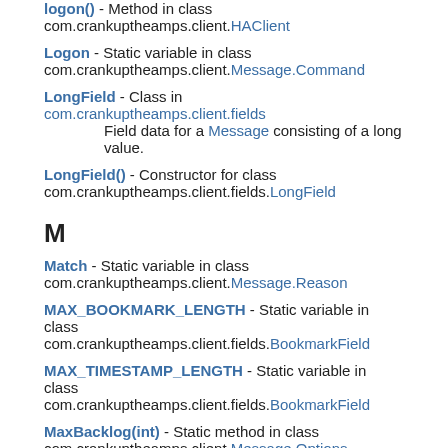logon() - Method in class com.crankuptheamps.client.HAClient
Logon - Static variable in class com.crankuptheamps.client.Message.Command
LongField - Class in com.crankuptheamps.client.fields
    Field data for a Message consisting of a long value.
LongField() - Constructor for class com.crankuptheamps.client.fields.LongField
M
Match - Static variable in class com.crankuptheamps.client.Message.Reason
MAX_BOOKMARK_LENGTH - Static variable in class com.crankuptheamps.client.fields.BookmarkField
MAX_TIMESTAMP_LENGTH - Static variable in class com.crankuptheamps.client.fields.BookmarkField
MaxBacklog(int) - Static method in class com.crankuptheamps.client.Message.Options
    Formats the max_backlog option for a command, used when subscribing to a queue.